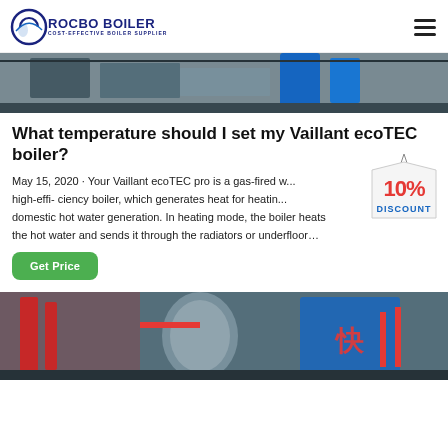ROCBO BOILER — COST-EFFECTIVE BOILER SUPPLIER
[Figure (photo): Top portion of a boiler installation photo showing industrial equipment with a blue tank/cylinder]
What temperature should I set my Vaillant ecoTEC boiler?
[Figure (infographic): 10% DISCOUNT badge/sticker overlaid on the article text]
May 15, 2020 · Your Vaillant ecoTEC pro is a gas-fired w... high-effi- ciency boiler, which generates heat for heatin... domestic hot water generation. In heating mode, the boiler heats the hot water and sends it through the radiators or underfloor…
[Figure (photo): Bottom industrial boiler facility photo showing large cylindrical boiler tanks with red piping and Chinese characters]